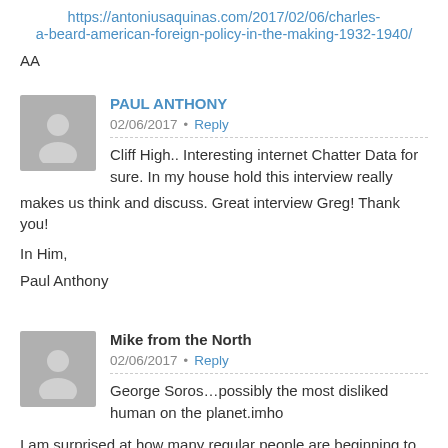https://antoniusaquinas.com/2017/02/06/charles-a-beard-american-foreign-policy-in-the-making-1932-1940/
AA
PAUL ANTHONY  02/06/2017 • Reply
Cliff High.. Interesting internet Chatter Data for sure. In my house hold this interview really makes us think and discuss. Great interview Greg! Thank you!

In Him,

Paul Anthony
Mike from the North  02/06/2017 • Reply
George Soros…possibly the most disliked human on the planet.imho

I am surprised at how many regular people are beginning to detest this man.